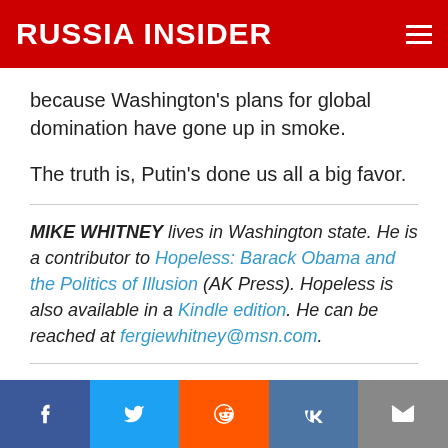RUSSIA INSIDER
because Washington's plans for global domination have gone up in smoke.
The truth is, Putin's done us all a big favor.
MIKE WHITNEY lives in Washington state. He is a contributor to Hopeless: Barack Obama and the Politics of Illusion (AK Press). Hopeless is also available in a Kindle edition. He can be reached at fergiewhitney@msn.com.
Source:   The Unz Review